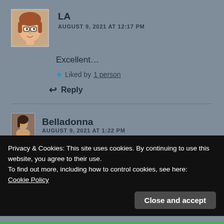[Figure (illustration): Avatar of user LA - cartoon woman with brown hair and glasses]
LA
AUGUST 9, 2021 AT 12:17 PM
Excellent...
★ Liked by 1 person
↩ Reply
[Figure (photo): Small avatar photo of user Belladonna]
Belladonna
AUGUST 9, 2021 AT 1:22 PM
Privacy & Cookies: This site uses cookies. By continuing to use this website, you agree to their use.
To find out more, including how to control cookies, see here:
Cookie Policy
Close and accept